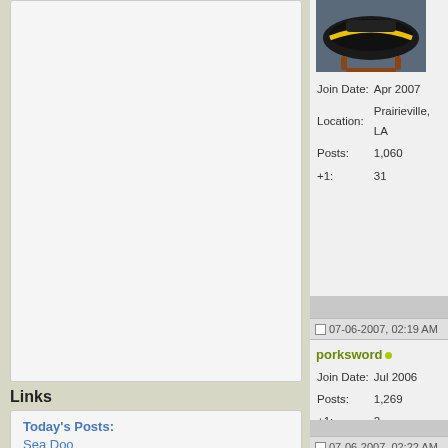[Figure (other): Advertisement or empty box area at top of left sidebar]
Links
Today's Posts:
Sea Doo
Yamaha
Polaris
Kawasaki
Honda
Conversions
PWC Community
Marketplace
Google Site Search
ENHANCED BY Google
Search
[Figure (photo): Photo of a jet ski (black and yellow) on a display stand]
Join Date: Apr 2007
Location: Prairieville, LA
Posts: 1,060
+1: 31
07-06-2007, 02:19 AM
porksword
Join Date: Jul 2006
Posts: 1,269
+1: 2
07-06-2007, 02:22 AM
Hydrotherapy